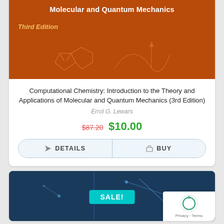[Figure (photo): Book cover for Computational Chemistry: Introduction to the Theory and Applications of Molecular and Quantum Mechanics, Third Edition. Orange/red background with molecule and waveform graphics in lighter orange outline.]
Computational Chemistry: Introduction to the Theory and Applications of Molecular and Quantum Mechanics (3rd Edition)
Errol G. Lewars
$87.20 $10.00
DETAILS  BUY
[Figure (photo): Book cover partially visible — dark blue background with molecular/geometric line diagrams. A teal SALE! badge overlaid in the center. A reCAPTCHA widget appears at the bottom right corner with Privacy · Terms text.]